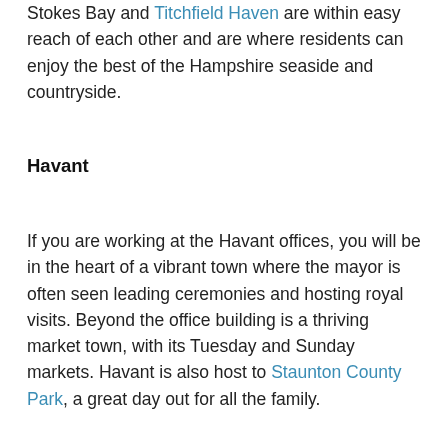Stokes Bay and Titchfield Haven are within easy reach of each other and are where residents can enjoy the best of the Hampshire seaside and countryside.
Havant
If you are working at the Havant offices, you will be in the heart of a vibrant town where the mayor is often seen leading ceremonies and hosting royal visits. Beyond the office building is a thriving market town, with its Tuesday and Sunday markets. Havant is also host to Staunton County Park, a great day out for all the family.